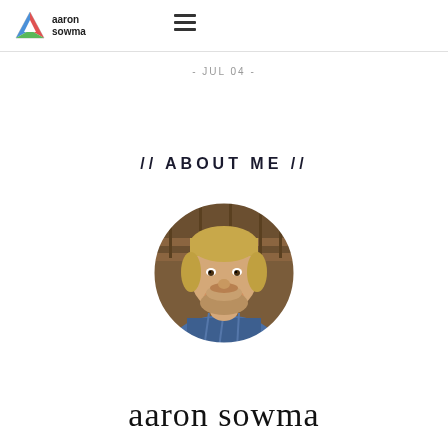aaron sowma
- JUL 04 -
// ABOUT ME //
[Figure (photo): Circular profile photo of Aaron Sowma, a man with short blonde hair and a beard, smiling, wearing a blue plaid shirt, with a warm indoor background]
aaron sowma